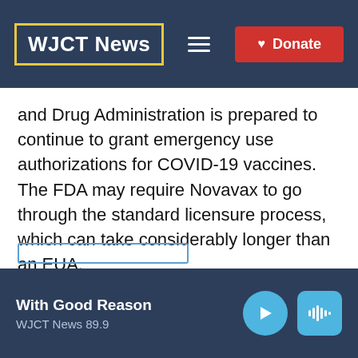WJCT News
and Drug Administration is prepared to continue to grant emergency use authorizations for COVID-19 vaccines. The FDA may require Novavax to go through the standard licensure process, which can take considerably longer than an EUA.
Copyright 2021 NPR. To see more, visit https://www.npr.org.
With Good Reason WJCT News 89.9